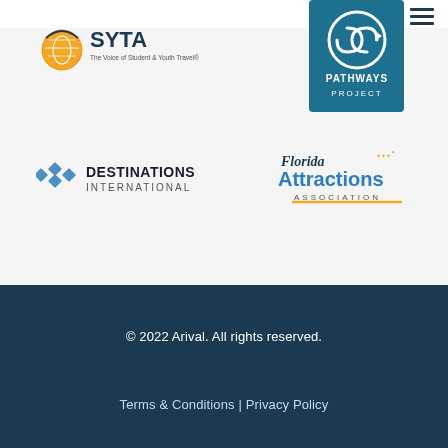[Figure (logo): Hamburger/menu icon (three horizontal lines) in dark teal color, top right corner]
[Figure (logo): SYTA logo: orange globe icon with arrow, text 'SYTA' in dark letters, subtitle 'The Voice of Student & Youth Travel']
[Figure (logo): Pathways Project logo: teal square with circular 'S' arrow icon and text 'PATHWAYS PROJECT' in white]
[Figure (logo): Destinations International logo: blue diamond grid icon with text 'DESTINATIONS INTERNATIONAL']
[Figure (logo): Florida Attractions Association logo: 'Florida' in dark navy script, 'Attractions' in large blue bold, 'ASSOCIATION' underlined in gold/yellow]
© 2022 Arival. All rights reserved.
Terms & Conditions | Privacy Policy